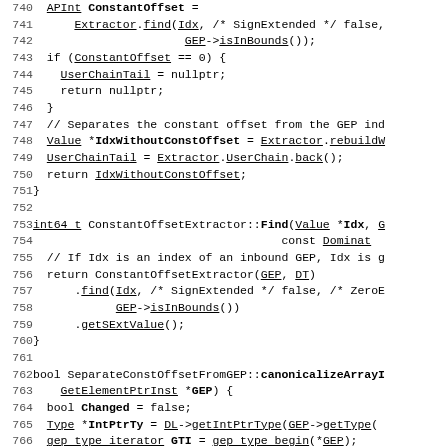[Figure (screenshot): Source code listing lines 740-769 showing C++ code for ConstantOffset extraction, ConstantOffsetExtractor::Find function, and SeparateConstOffsetFromGEP::canonicalizeArrayIndices function]